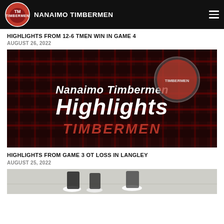NANAIMO TIMBERMEN
HIGHLIGHTS FROM 12-6 TMEN WIN IN GAME 4
AUGUST 26, 2022
[Figure (photo): Nanaimo Timbermen Highlights graphic — red and black plaid background with Timbermen mascot logo and 'Nanaimo Timbermen Highlights' text overlay, red TIMBERMEN wordmark at bottom]
HIGHLIGHTS FROM GAME 3 OT LOSS IN LANGLEY
AUGUST 25, 2022
[Figure (photo): Partial lacrosse action photo showing players' feet and lower bodies on an indoor lacrosse floor]